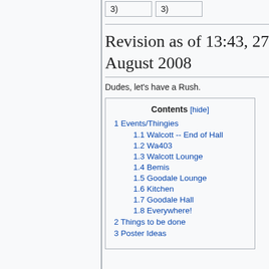3)
3)
Revision as of 13:43, 27 August 2008
Dudes, let's have a Rush.
| Contents [hide] |
| --- |
| 1 Events/Thingies |
| 1.1 Walcott -- End of Hall |
| 1.2 Wa403 |
| 1.3 Walcott Lounge |
| 1.4 Bemis |
| 1.5 Goodale Lounge |
| 1.6 Kitchen |
| 1.7 Goodale Hall |
| 1.8 Everywhere! |
| 2 Things to be done |
| 3 Poster Ideas |